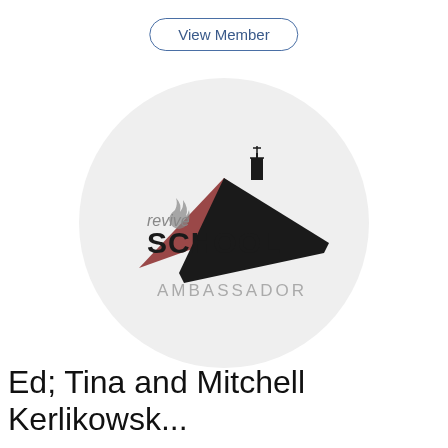View Member
[Figure (logo): Revive School Ambassador logo inside a light grey circle. Features a stylized rooftop/church silhouette in black and dark red, with text 'revive SCHOOL' and 'AMBASSADOR' below in grey.]
Ed; Tina and Mitchell Kerlikowsk...